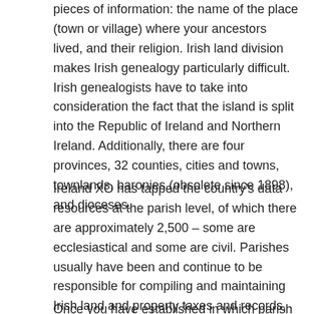pieces of information: the name of the place (town or village) where your ancestors lived, and their religion. Irish land division makes Irish genealogy particularly difficult. Irish genealogists have to take into consideration the fact that the island is split into the Republic of Ireland and Northern Ireland. Additionally, there are four provinces, 32 counties, cities and towns, townlands, baronies (obsolete since 1898), and dioceses.
Ireland XO has tapped the country's data resources at the parish level, of which there are approximately 2,500 – some are ecclesiastical and some are civil. Parishes usually have been and continue to be responsible for compiling and maintaining Irish land and property taxes and records, integral resources to tracing Irish genealogy. In many cases emigrating Irish listed their parish as a place of origin on civil documents in their adopted country. Ireland XO is hoping to replicate its Irish ancestry database technology in every one of its 2,500 parishes.
Once you have established in which parish your family lived